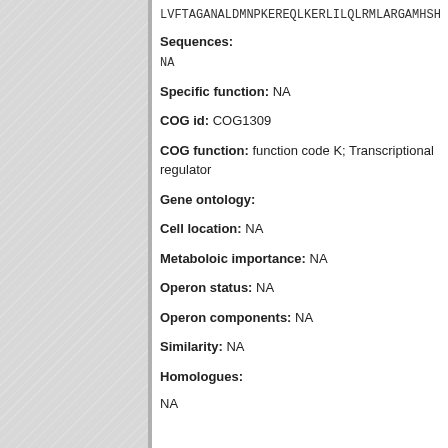LVFTAGANALDMNPKEREQLKERLILQLRMLARGAMHSH
Sequences: NA
Specific function: NA
COG id: COG1309
COG function: function code K; Transcriptional regulator
Gene ontology:
Cell location: NA
Metaboloic importance: NA
Operon status: NA
Operon components: NA
Similarity: NA
Homologues:
NA